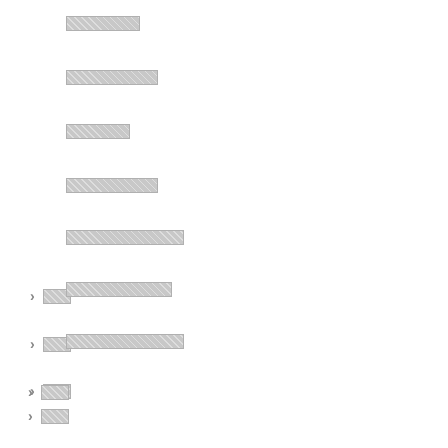[REDACTED 6 chars]
[REDACTED 8 chars]
[REDACTED 6 chars]
[REDACTED 8 chars]
[REDACTED 10 chars]
[REDACTED 9 chars]
[REDACTED 10 chars]
[REDACTED 2 chars]
[REDACTED 2 chars]
[REDACTED 2 chars]
[REDACTED 2 chars]